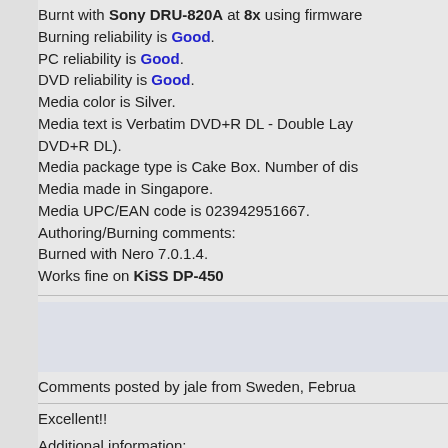Burnt with Sony DRU-820A at 8x using firmware. Burning reliability is Good. PC reliability is Good. DVD reliability is Good. Media color is Silver. Media text is Verbatim DVD+R DL - Double Layer DVD+R DL). Media package type is Cake Box. Number of dis. Media made in Singapore. Media UPC/EAN code is 023942951667. Authoring/Burning comments: Burned with Nero 7.0.1.4. Works fine on KiSS DP-450
Comments posted by jale from Sweden, Februa
Excellent!!
Additional information: